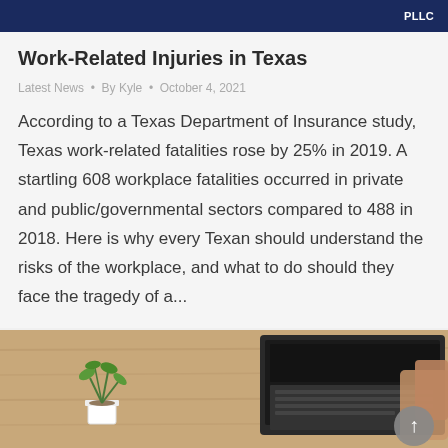PLLC
Work-Related Injuries in Texas
Latest News • By Kyle • October 4, 2021
According to a Texas Department of Insurance study, Texas work-related fatalities rose by 25% in 2019. A startling 608 workplace fatalities occurred in private and public/governmental sectors compared to 488 in 2018. Here is why every Texan should understand the risks of the workplace, and what to do should they face the tragedy of a...
[Figure (photo): Desk scene with a small potted plant and a laptop computer, person typing in background]